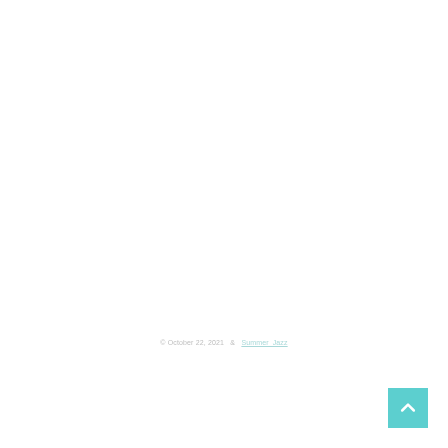© October 22, 2021  &  Summer_Jazz
[Figure (other): Back to top button: a teal/cyan square with an upward-pointing chevron arrow icon in white]